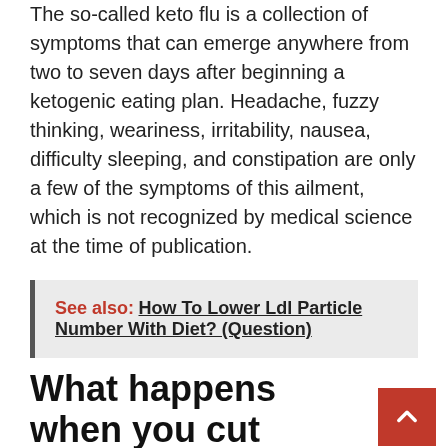The so-called keto flu is a collection of symptoms that can emerge anywhere from two to seven days after beginning a ketogenic eating plan. Headache, fuzzy thinking, weariness, irritability, nausea, difficulty sleeping, and constipation are only a few of the symptoms of this ailment, which is not recognized by medical science at the time of publication.
See also: How To Lower Ldl Particle Number With Diet? (Question)
What happens when you cut carbs for 2 weeks?